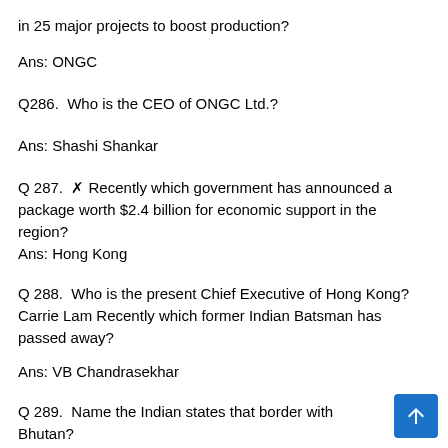in 25 major projects to boost production?
Ans: ONGC
Q286.  Who is the CEO of ONGC Ltd.?
Ans: Shashi Shankar
Q 287.  ✗ Recently which government has announced a package worth $2.4 billion for economic support in the region?
Ans: Hong Kong
Q 288.  Who is the present Chief Executive of Hong Kong? Carrie Lam Recently which former Indian Batsman has passed away?
Ans: VB Chandrasekhar
Q 289.  Name the Indian states that border with Bhutan?
Ans: Arunachal Pradesh, Assam, West Bengal, and Sikkim